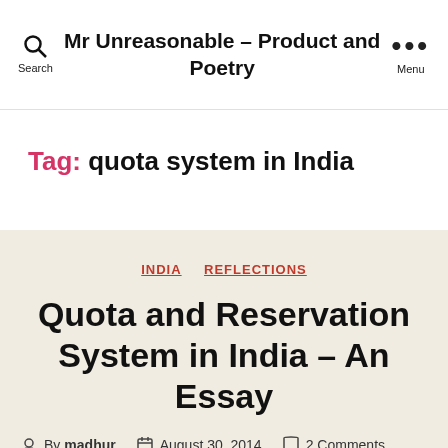Mr Unreasonable – Product and Poetry
Tag: quota system in India
INDIA   REFLECTIONS
Quota and Reservation System in India – An Essay
By madhur   August 30, 2014   2 Comments